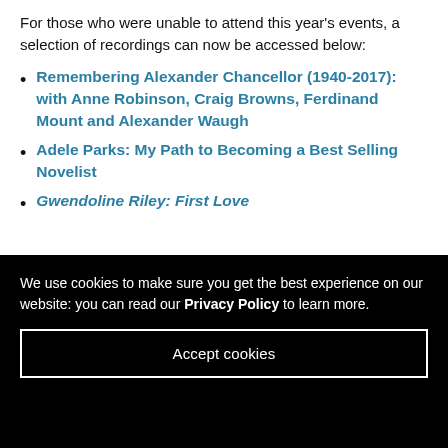For those who were unable to attend this year's events, a selection of recordings can now be accessed below:
Remembering Alexander Chancellor (1940-2017): with Anne Robinson, Craig Browns, Ferdinand Mount and Alexander Waugh
Adele Parks: My Path to Becoming a Best Selling Novelist
Gwendoline Riley: First Love
We use cookies to make sure you get the best experience on our website: you can read our Privacy Policy to learn more.
Accept cookies